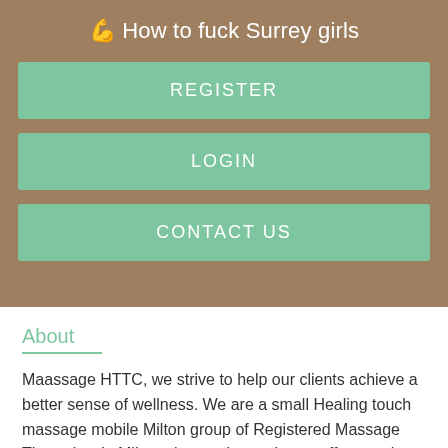💪 How to fuck Surrey girls
REGISTER
LOGIN
CONTACT US
About
Maassage HTTC, we strive to help our clients achieve a better sense of wellness. We are a small Healing touch massage mobile Milton group of Registered Massage Therapists in Milton, that work together to offer you the best possible Divorce Oakville online care experience. As RMTs, we focus on helping decrease low back pain